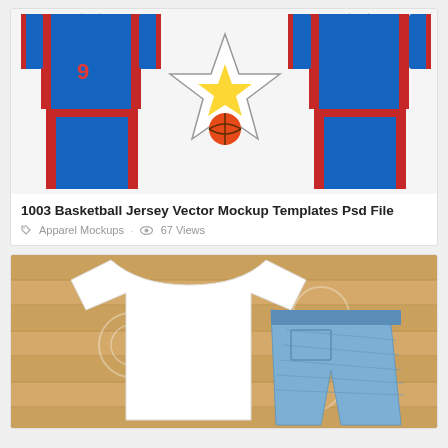[Figure (photo): Basketball jersey vector mockup templates showing front and back views of blue uniforms with red stripes, with a star logo in the center]
1003 Basketball Jersey Vector Mockup Templates Psd File
Apparel Mockups · 67 Views
[Figure (photo): White t-shirt mockup laid flat on wooden surface next to denim shorts]